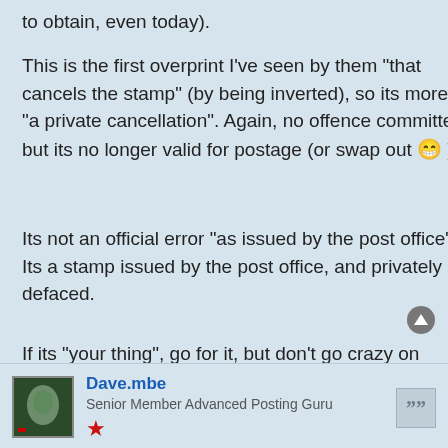to obtain, even today).
This is the first overprint I've seen by them "that cancels the stamp" (by being inverted), so its more of "a private cancellation". Again, no offence committed, but its no longer valid for postage (or swap out 😀 ).
Its not an official error "as issued by the post office". Its a stamp issued by the post office, and privately defaced.
If its "your thing", go for it, but don't go crazy on price, as its provenance and production quantities "may well turn out surprising".
Dave.mbe
Senior Member Advanced Posting Guru